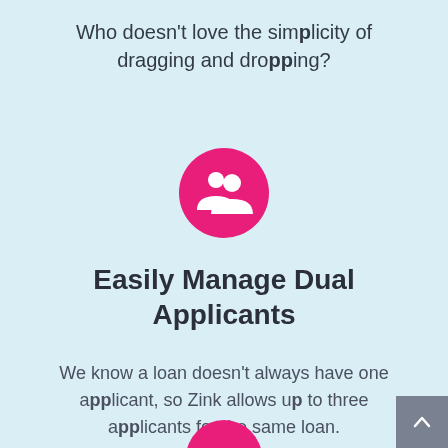Who doesn't love the simplicity of dragging and dropping?
[Figure (illustration): Pink circle with white group/people icon representing dual applicants]
Easily Manage Dual Applicants
We know a loan doesn't always have one applicant, so Zink allows up to three applicants for the same loan.
[Figure (illustration): Partially visible pink circle icon at bottom of page]
[Figure (illustration): Gray scroll-to-top button with upward arrow in bottom right corner]